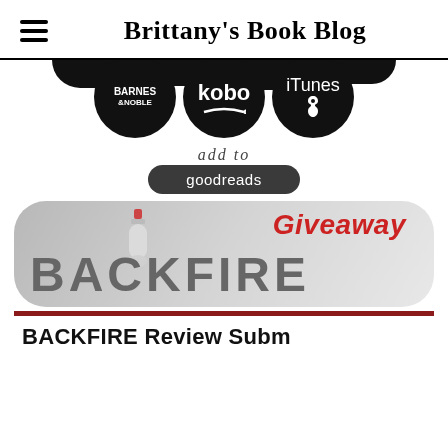Brittany's Book Blog
[Figure (logo): Three partially visible black circles at top (cropped), then three full black circular store icons: Barnes & Noble, kobo, iTunes]
[Figure (logo): Add to Goodreads button with italic script 'add to' above a dark rounded rectangle reading 'goodreads']
[Figure (infographic): Giveaway banner with rounded corners on a gray gradient background. 'Giveaway' in red italic font top right, 'BACKFIRE' in large gray bold font bottom, with a stylized bottle graphic in the O]
BACKFIRE Review Subm